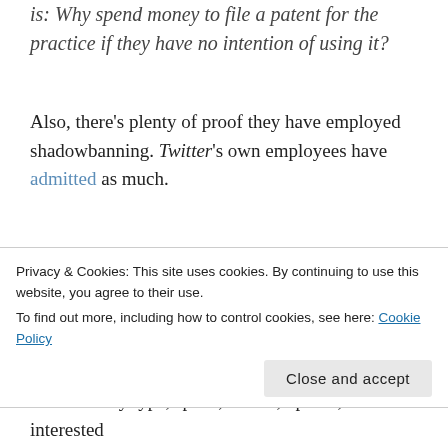is: Why spend money to file a patent for the practice if they have no intention of using it?
Also, there's plenty of proof they have employed shadowbanning. Twitter's own employees have admitted as much.
Putting aside the flimsy defense of those that wilfully ignore the truth, we must recognize the ramifications of such a development. Social media companies have built a reputation of being altruistic vehicles of socialization for civilization. In truth, they traffic in what is known as the
Privacy & Cookies: This site uses cookies. By continuing to use this website, you agree to their use.
To find out more, including how to control cookies, see here: Cookie Policy
on what they type, speak, record, upload, are interested